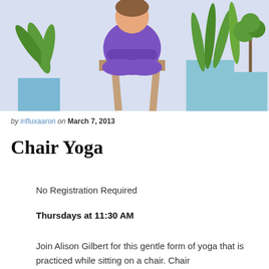[Figure (illustration): Cartoon illustration of a person in purple clothes sitting cross-legged on a tall stool in a meditation yoga pose, surrounded by potted green plants on a light blue/lavender background.]
by influxaaron on March 7, 2013
Chair Yoga
No Registration Required
Thursdays at 11:30 AM
Join Alison Gilbert for this gentle form of yoga that is practiced while sitting on a chair. Chair